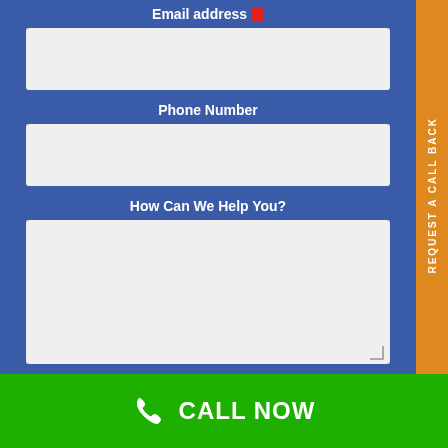Email address
Phone Number
How Can We Help You?
SEND
REQUEST A CALL BACK
CALL NOW